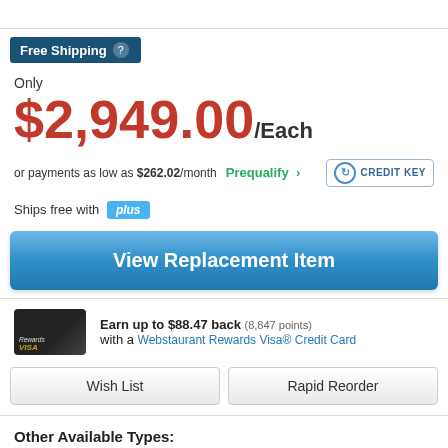[Figure (logo): Top white bar with partial logo visible]
Free Shipping ?
Only
$2,949.00/Each
or payments as low as $262.02/month Prequalify > CREDIT KEY
Ships free with plus
View Replacement Item
Earn up to $88.47 back (8,847 points) with a Webstaurant Rewards Visa® Credit Card
Wish List
Rapid Reorder
Other Available Types:
Half Cube